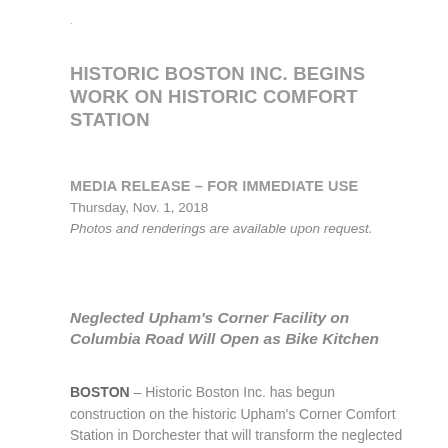HISTORIC BOSTON INC. BEGINS WORK ON HISTORIC COMFORT STATION
MEDIA RELEASE – FOR IMMEDIATE USE
Thursday, Nov. 1, 2018
Photos and renderings are available upon request.
Neglected Upham's Corner Facility on Columbia Road Will Open as Bike Kitchen
BOSTON – Historic Boston Inc. has begun construction on the historic Upham's Corner Comfort Station in Dorchester that will transform the neglected building into Sip '&' Spoke, a café, bike repair shop and